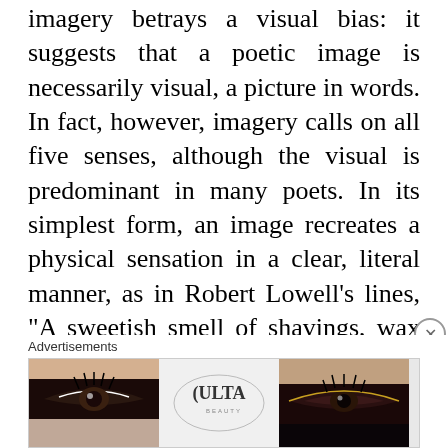imagery betrays a visual bias: it suggests that a poetic image is necessarily visual, a picture in words. In fact, however, imagery calls on all five senses, although the visual is predominant in many poets. In its simplest form, an image recreates a physical sensation in a clear, literal manner, as in Robert Lowell’s lines, “A sweetish smell of shavings, wax and oil/ blows through the redone bedroom newly aged” (“Marriage”). Imagery becomes more complex when the poet employs metaphor and other figures of speech to re-create
Advertisements
[Figure (photo): Advertisement banner for ULTA beauty showing close-up beauty/makeup images including lips with red lipstick, eye makeup with brush, ULTA logo, eye makeup, and a 'SHOP NOW' call to action button.]